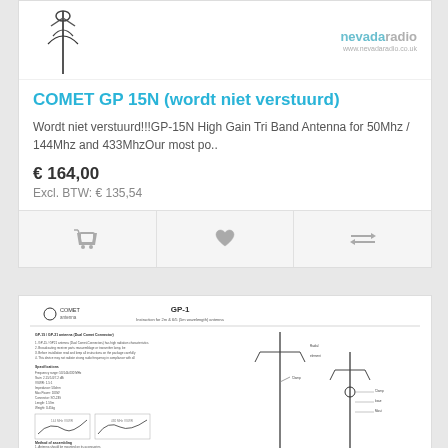[Figure (photo): Antenna product image (top portion of antenna visible) with Nevada Radio logo top right]
COMET GP 15N (wordt niet verstuurd)
Wordt niet verstuurd!!!GP-15N High Gain Tri Band Antenna for 50Mhz / 144Mhz and 433MhzOur most po..
€ 164,00
Excl. BTW: € 135,54
[Figure (other): Action buttons: shopping cart icon, heart/wishlist icon, compare icon]
[Figure (engineering-diagram): GP-1 antenna technical specification sheet showing diagrams, specs, and installation instructions]